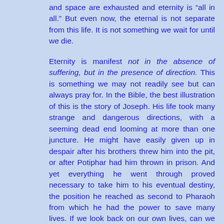and space are exhausted and eternity is “all in all.” But even now, the eternal is not separate from this life. It is not something we wait for until we die.
Eternity is manifest not in the absence of suffering, but in the presence of direction. This is something we may not readily see but can always pray for. In the Bible, the best illustration of this is the story of Joseph. His life took many strange and dangerous directions, with a seeming dead end looming at more than one juncture. He might have easily given up in despair after his brothers threw him into the pit, or after Potiphar had him thrown in prison. And yet everything he went through proved necessary to take him to his eventual destiny, the position he reached as second to Pharaoh from which he had the power to save many lives. If we look back on our own lives, can we see any similar pattern, how the hardships we’ve